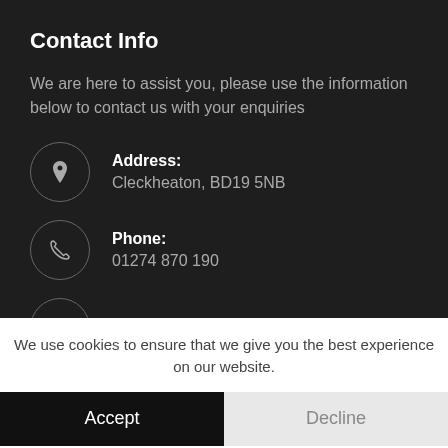Contact Info
We are here to assist you, please use the information below to contact us with your enquiries
Address: Cleckheaton, BD19 5NB
Phone: 01274 870 190
Email:
We use cookies to ensure that we give you the best experience on our website.